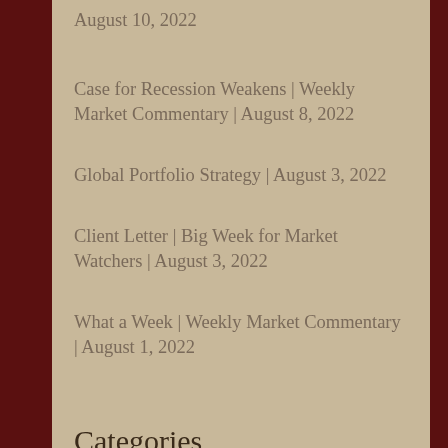August 10, 2022
Case for Recession Weakens | Weekly Market Commentary | August 8, 2022
Global Portfolio Strategy | August 3, 2022
Client Letter | Big Week for Market Watchers | August 3, 2022
What a Week | Weekly Market Commentary | August 1, 2022
Categories